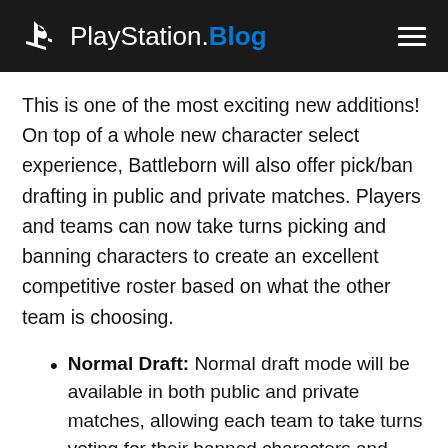PlayStation.Blog
This is one of the most exciting new additions! On top of a whole new character select experience, Battleborn will also offer pick/ban drafting in public and private matches. Players and teams can now take turns picking and banning characters to create an excellent competitive roster based on what the other team is choosing.
Normal Draft: Normal draft mode will be available in both public and private matches, allowing each team to take turns voting for their banned characters and creating their roster.
Captain's Draft: Private matches have an